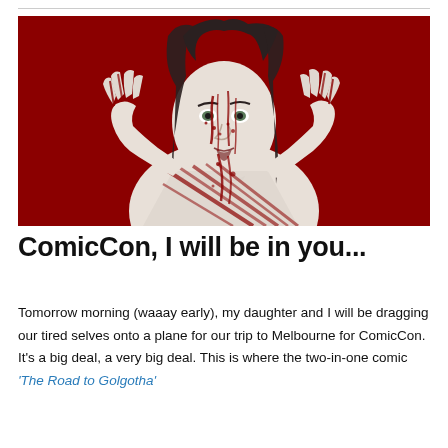[Figure (illustration): Ink illustration of a woman with dark hair, face and body streaked with red blood-like markings on a deep red background, hands raised on either side.]
ComicCon, I will be in you...
Tomorrow morning (waaay early), my daughter and I will be dragging our tired selves onto a plane for our trip to Melbourne for ComicCon. It's a big deal, a very big deal. This is where the two-in-one comic 'The Road to Golgotha'